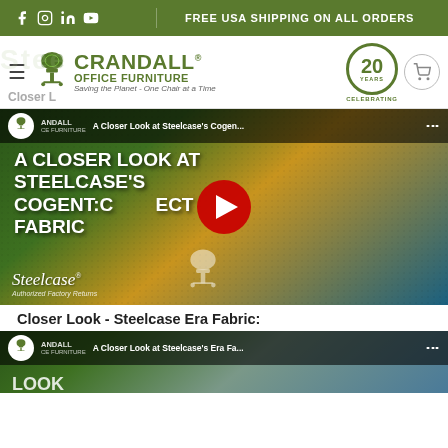FREE USA SHIPPING ON ALL ORDERS
[Figure (screenshot): Crandall Office Furniture website header with logo, 20 Years Celebrating badge, navigation icons, and social media icons]
[Figure (screenshot): YouTube video thumbnail for 'A Closer Look at Steelcase's Cogent:Connect Fabric' with play button, green/tan fabric background, Steelcase Authorized Factory Returns logo]
Closer Look - Steelcase Era Fabric:
[Figure (screenshot): YouTube video thumbnail for 'A Closer Look at Steelcase's Era Fa...' partially visible at bottom of page]